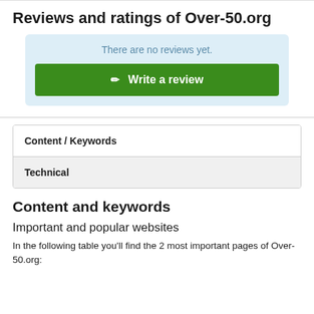Reviews and ratings of Over-50.org
There are no reviews yet.
✏ Write a review
Content / Keywords
Technical
Content and keywords
Important and popular websites
In the following table you'll find the 2 most important pages of Over-50.org: